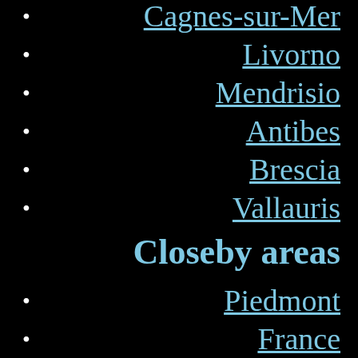Cagnes-sur-Mer
Livorno
Mendrisio
Antibes
Brescia
Vallauris
Closeby areas
Piedmont
France